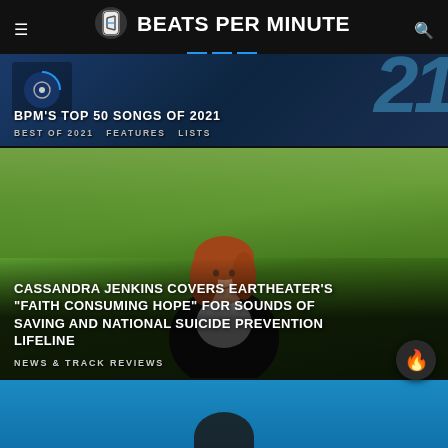BEATS PER MINUTE
[Figure (screenshot): BPM's Top 50 Songs of 2021 article card with dark blue background and stylized '2021' text]
BPM'S TOP 50 SONGS OF 2021
BEST OF 2021  FEATURES  LISTS
[Figure (photo): Photo of a woman with red/auburn hair standing outdoors in a green park setting]
CASSANDRA JENKINS COVERS EARTHEATER'S “FAITH CONSUMING HOPE” FOR SOUNDS OF SAVING AND NATIONAL SUICIDE PREVENTION LIFELINE
NEWS & TRACK REVIEWS
[Figure (photo): Bottom portion of another article card showing a blue background, partially visible]